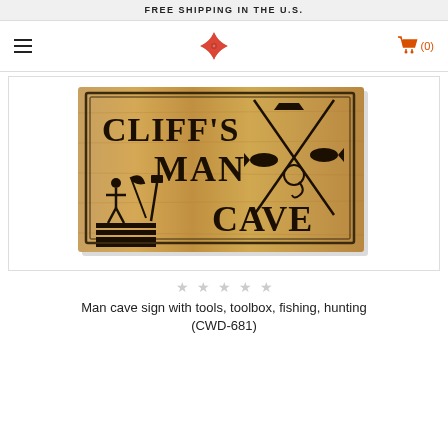FREE SHIPPING IN THE U.S.
[Figure (logo): Red ninja star/shuriken logo in center of nav bar, hamburger menu on left, orange shopping cart with (0) on right]
[Figure (photo): Wooden man cave sign reading CLIFF'S MAN CAVE with tools, toolbox/American flag, fishing rods crossed, fish, and hunting symbols carved into wood]
Man cave sign with tools, toolbox, fishing, hunting (CWD-681)